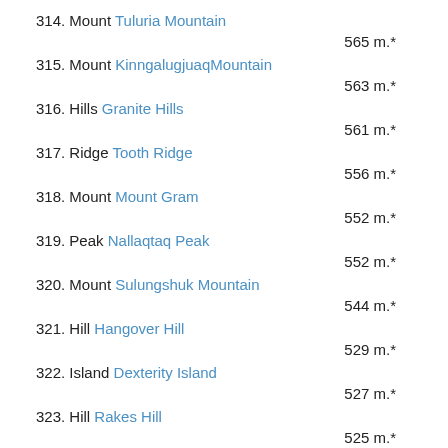314. Mount Tuluria Mountain — 565 m.*
315. Mount KinngalugjuaqMountain — 563 m.*
316. Hills Granite Hills — 561 m.*
317. Ridge Tooth Ridge — 556 m.*
318. Mount Mount Gram — 552 m.*
319. Peak Nallaqtaq Peak — 552 m.*
320. Mount Sulungshuk Mountain — 544 m.*
321. Hill Hangover Hill — 529 m.*
322. Island Dexterity Island — 527 m.*
323. Hill Rakes Hill — 525 m.*
324. Mount Crane Mountain — 519 m.*
325. Peak Church Peak — 515 m.*